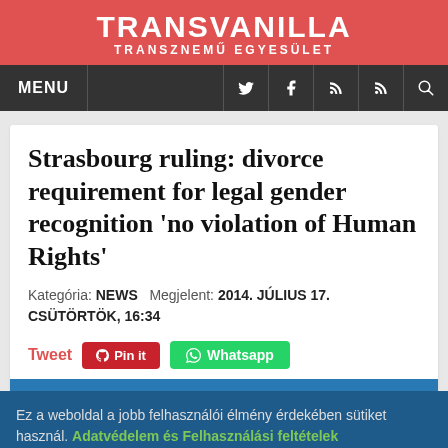TRANSVANILLA TRANSZNEMŰ EGYESÜLET
Strasbourg ruling: divorce requirement for legal gender recognition 'no violation of Human Rights'
Kategória: NEWS   Megjelent: 2014. JÚLIUS 17. CSÜTÖRTÖK, 16:34
Tweet  Pin it  Whatsapp
Ez a weboldal a jobb felhasználói élmény érdekében sütiket használ. Adatvédelem és Felhasználási feltételek
Rendben